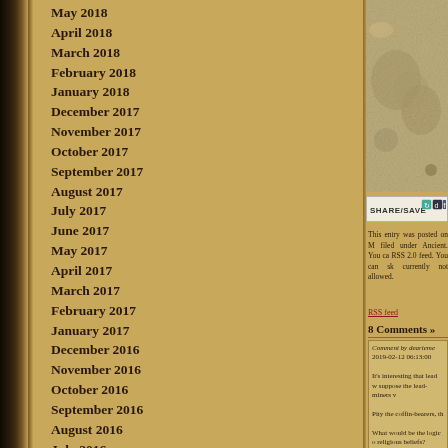May 2018
April 2018
March 2018
February 2018
January 2018
December 2017
November 2017
October 2017
September 2017
August 2017
July 2017
June 2017
May 2017
April 2017
March 2017
February 2017
January 2017
December 2016
November 2016
October 2016
September 2016
August 2016
July 2016
June 2016
May 2016
April 2016
March 2016
February 2016
January 2016
December 2015
November 2015
October 2015
[Figure (photo): Stone or archaeological artifact photo, top-right corner]
[Figure (screenshot): SHARE/SAVE social sharing button widget]
This entry was posted on M filed under Ancient. You ca RSS 2.0 feed. You can sk currently not allowed.
RSS feed
8 Comments »
Comment by dearieme
2019-02-12 06:13:00
It's interesting that lead w suppose the lead-miners v
Pity the coffin-bearers, th
What would be the logic o religious beliefs?